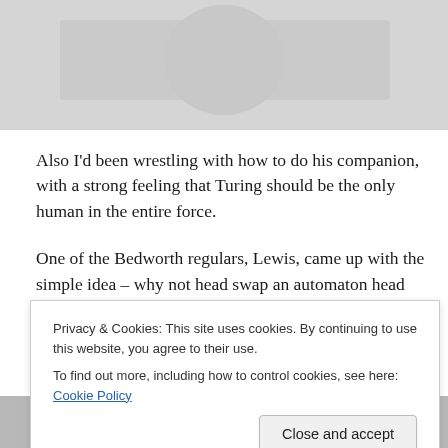[Figure (photo): Top portion of an image, light gray background, partial view of a figure or illustration]
Also I'd been wrestling with how to do his companion, with a strong feeling that Turing should be the only human in the entire force.
One of the Bedworth regulars, Lewis, came up with the simple idea – why not head swap an automaton head on?
Genius. Turing's second on command was created and naturally was christened Roger.
Privacy & Cookies: This site uses cookies. By continuing to use this website, you agree to their use.
To find out more, including how to control cookies, see here: Cookie Policy
[Figure (photo): Bottom portion showing a circular illustrated figure head, green/olive tones]